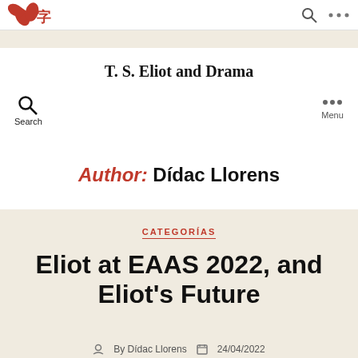T. S. Eliot and Drama
Author: Dídac Llorens
CATEGORÍAS
Eliot at EAAS 2022, and Eliot's Future
By Dídac Llorens  24/04/2022